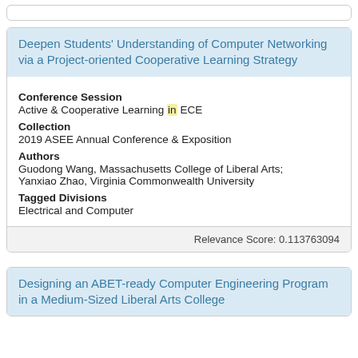Deepen Students' Understanding of Computer Networking via a Project-oriented Cooperative Learning Strategy
Conference Session
Active & Cooperative Learning in ECE
Collection
2019 ASEE Annual Conference & Exposition
Authors
Guodong Wang, Massachusetts College of Liberal Arts; Yanxiao Zhao, Virginia Commonwealth University
Tagged Divisions
Electrical and Computer
Relevance Score: 0.113763094
Designing an ABET-ready Computer Engineering Program in a Medium-Sized Liberal Arts College